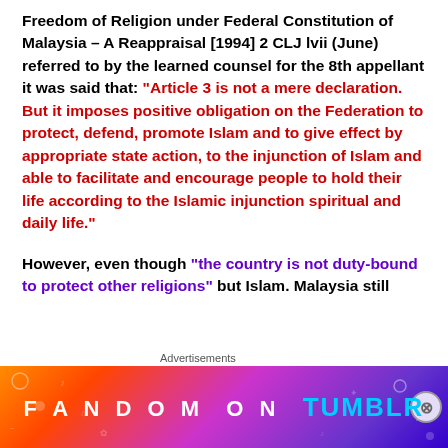Freedom of Religion under Federal Constitution of Malaysia – A Reappraisal [1994] 2 CLJ lvii (June) referred to by the learned counsel for the 8th appellant it was said that: "Article 3 is not a mere declaration. But it imposes positive obligation on the Federation to protect, defend, promote Islam and to give effect by appropriate state action, to the injunction of Islam and able to facilitate and encourage people to hold their life according to the Islamic injunction spiritual and daily life."
However, even though "the country is not duty-bound to protect other religions" but Islam. Malaysia still
[Figure (other): Advertisement banner for Fandom on Tumblr with colorful gradient background and white/cyan text]